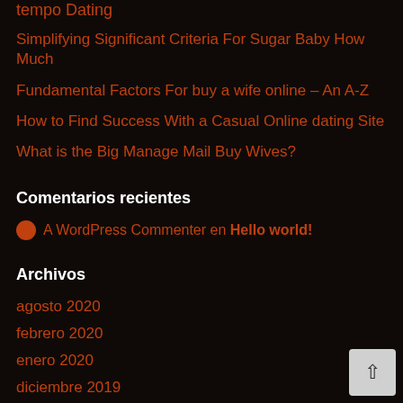tempo Dating
Simplifying Significant Criteria For Sugar Baby How Much
Fundamental Factors For buy a wife online – An A-Z
How to Find Success With a Casual Online dating Site
What is the Big Manage Mail Buy Wives?
Comentarios recientes
A WordPress Commenter en Hello world!
Archivos
agosto 2020
febrero 2020
enero 2020
diciembre 2019